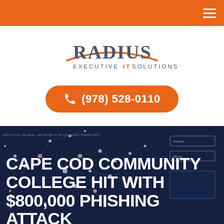Radius Executive IT Solutions - navigation header
[Figure (logo): Radius Executive IT Solutions logo with orange arc underline and the text RADIUS in dark gray and EXECUTIVE IT SOLUTIONS below in smaller caps]
(978) 528-0110
[Figure (photo): Dark blue background showing an artificial neural network visualization with dots and lines, resembling a brain network diagram, with partial UI elements visible on right side]
CAPE COD COMMUNITY COLLEGE HIT WITH $800,000 PHISHING ATTACK